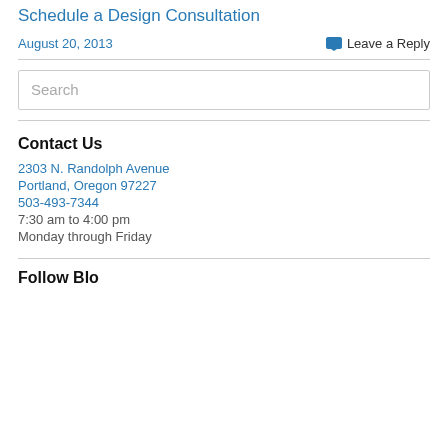Schedule a Design Consultation
August 20, 2013
Leave a Reply
Search
Contact Us
2303 N. Randolph Avenue
Portland, Oregon 97227
503-493-7344
7:30 am to 4:00 pm
Monday through Friday
Follow Blog via Email